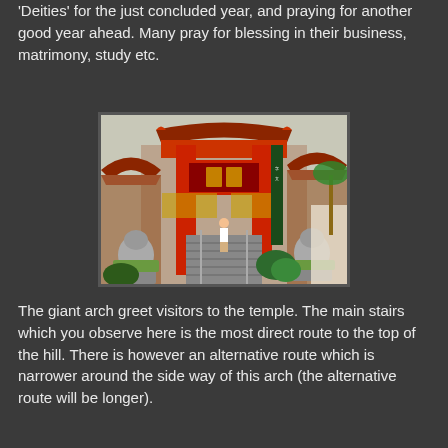'Deities' for the just concluded year, and praying for another good year ahead. Many pray for blessing in their business, matrimony, study etc.
[Figure (photo): A large traditional Chinese temple gate with red pillars, ornate roof with upturned eaves, Chinese characters on the gate. A person stands on stairs leading up through the gate. Stone lion guardian statues flank the pathway. Lush greenery surrounds the area.]
The giant arch greet visitors to the temple. The main stairs which you observe here is the most direct route to the top of the hill. There is however an alternative route which is narrower around the side way of this arch (the alternative route will be longer).